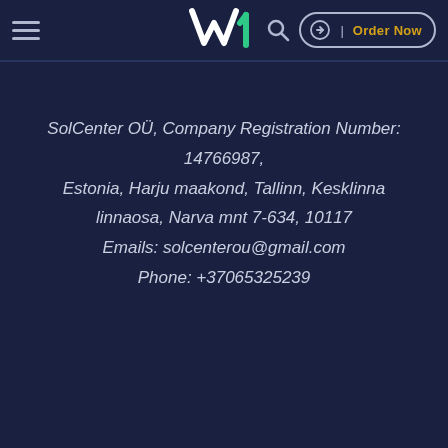W1 — Navigation bar with hamburger menu, logo, search icon, login button, Order Now
SolCenter OÜ, Company Registration Number: 14766987, Estonia, Harju maakond, Tallinn, Kesklinna linnaosa, Narva mnt 7-634, 10117 Emails: solcenterou@gmail.com Phone: +37065325239